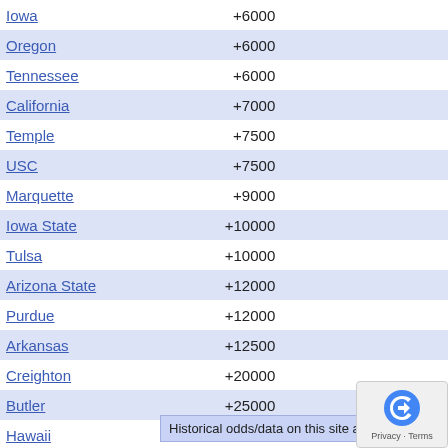| Team | Odds |  |  |  |
| --- | --- | --- | --- | --- |
| Iowa | +6000 |  |  |  |
| Oregon | +6000 |  |  |  |
| Tennessee | +6000 |  |  |  |
| California | +7000 |  |  |  |
| Temple | +7500 |  |  |  |
| USC | +7500 |  |  |  |
| Marquette | +9000 |  |  |  |
| Iowa State | +10000 |  |  |  |
| Tulsa | +10000 |  |  |  |
| Arizona State | +12000 |  |  |  |
| Purdue | +12000 |  |  |  |
| Arkansas | +12500 |  |  |  |
| Creighton | +20000 |  |  |  |
| Butler | +25000 |  |  |  |
| Hawaii | +25000 |  |  |  |
| UNLV | +25000 |  |  |  |
Historical odds/data on this site are believed...